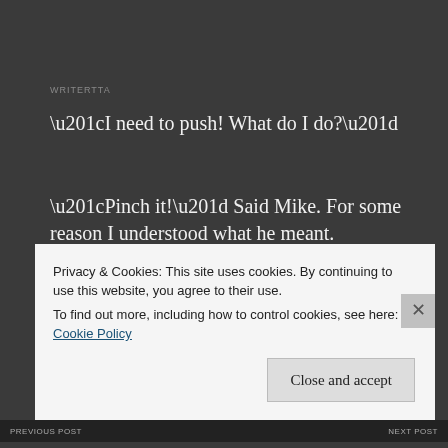WRITERTTA
“I need to push! What do I do?”
“Pinch it!” Said Mike. For some reason I understood what he meant.
“Call an audible.” Suggested Mom.
The epidural only worked on one side of my body. I felt
Privacy & Cookies: This site uses cookies. By continuing to use this website, you agree to their use.
To find out more, including how to control cookies, see here: Cookie Policy
Close and accept